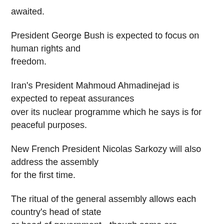awaited.
President George Bush is expected to focus on human rights and freedom.
Iran's President Mahmoud Ahmadinejad is expected to repeat assurances over its nuclear programme which he says is for peaceful purposes.
New French President Nicolas Sarkozy will also address the assembly for the first time.
The ritual of the general assembly allows each country's head of state or head of government - though some are represented by their foreign